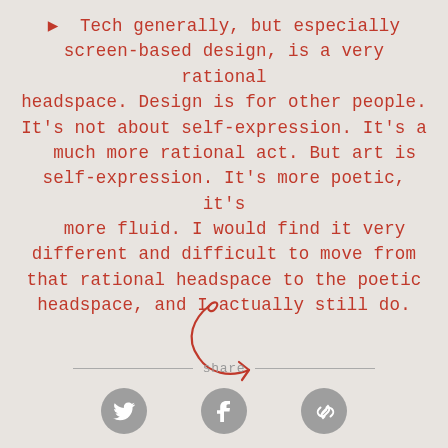▶ Tech generally, but especially screen-based design, is a very rational headspace. Design is for other people. It's not about self-expression. It's a much more rational act. But art is self-expression. It's more poetic, it's more fluid. I would find it very different and difficult to move from that rational headspace to the poetic headspace, and I actually still do.
[Figure (illustration): A curly red arrow pointing right and down, decorative divider]
share
[Figure (other): Social share icons: Twitter bird, Facebook f, and a link/chain icon, all in grey circles]